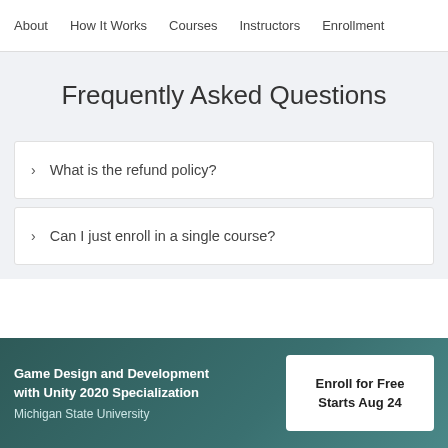About  How It Works  Courses  Instructors  Enrollment
Frequently Asked Questions
What is the refund policy?
Can I just enroll in a single course?
Game Design and Development with Unity 2020 Specialization
Michigan State University
Enroll for Free
Starts Aug 24